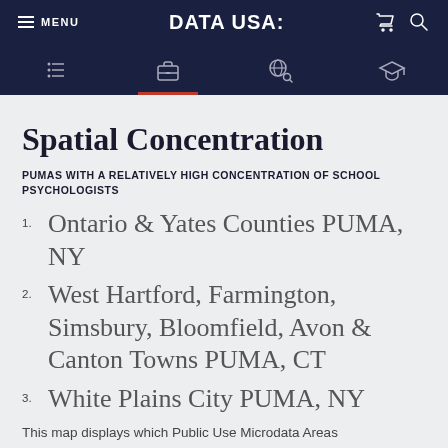MENU  DATA USA:
Spatial Concentration
PUMAS WITH A RELATIVELY HIGH CONCENTRATION OF SCHOOL PSYCHOLOGISTS
1. Ontario & Yates Counties PUMA, NY
2. West Hartford, Farmington, Simsbury, Bloomfield, Avon & Canton Towns PUMA, CT
3. White Plains City PUMA, NY
This map displays which Public Use Microdata Areas (PUMAs) in the United States have a relatively